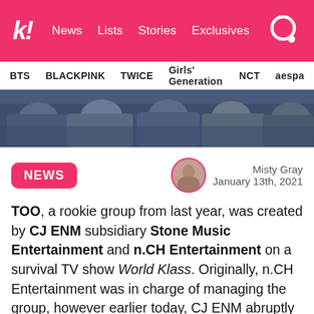k! News Lists Stories Exclusives
BTS BLACKPINK TWICE Girls' Generation NCT aespa
[Figure (photo): Group photo of members lying/sitting together, wearing dark blue and grey outfits]
NEWS
Misty Gray January 13th, 2021
TOO, a rookie group from last year, was created by CJ ENM subsidiary Stone Music Entertainment and n.CH Entertainment on a survival TV show World Klass. Originally, n.CH Entertainment was in charge of managing the group, however earlier today, CJ ENM abruptly requested for them to halt all management involving TOO and to terminate their